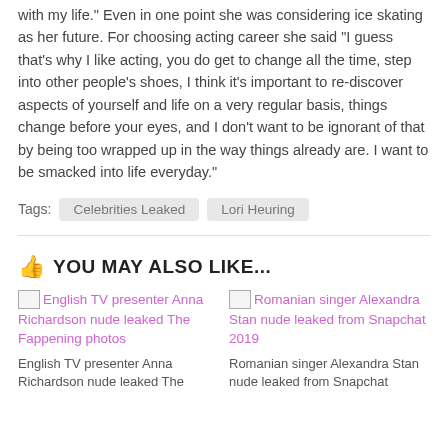with my life." Even in one point she was considering ice skating as her future. For choosing acting career she said "I guess that's why I like acting, you do get to change all the time, step into other people's shoes, I think it's important to re-discover aspects of yourself and life on a very regular basis, things change before your eyes, and I don't want to be ignorant of that by being too wrapped up in the way things already are. I want to be smacked into life everyday."
Tags: Celebrities Leaked  Lori Heuring
YOU MAY ALSO LIKE...
[Figure (photo): English TV presenter Anna Richardson nude leaked The Fappening photos]
English TV presenter Anna Richardson nude leaked The Fappening photos
English TV presenter Anna Richardson nude leaked The
[Figure (photo): Romanian singer Alexandra Stan nude leaked from Snapchat 2019]
Romanian singer Alexandra Stan nude leaked from Snapchat 2019
Romanian singer Alexandra Stan nude leaked from Snapchat